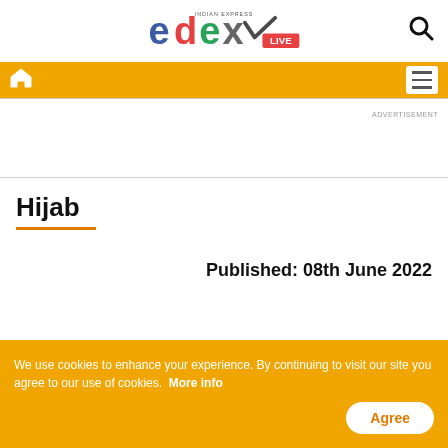[Figure (logo): Edex Live logo with Indian Express branding, colorful letters e-d-e-x with LIVE badge in red, and search icon]
[Figure (infographic): Orange navigation bar with white home icon on left and white hamburger menu button on right]
ADVERTISEMENT
Hijab
Published: 08th June 2022
We use cookies to enhance your experience. By continuing to visit our site you agree to our use of cookies. More info